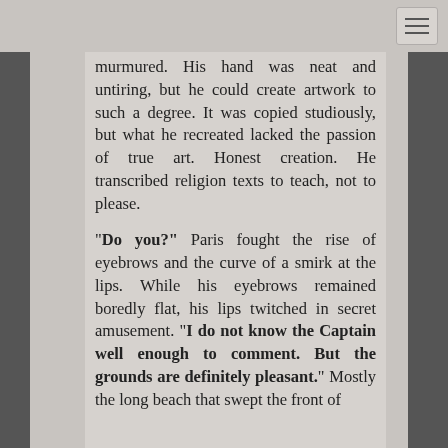[Figure (screenshot): Navigation hamburger menu button in top-right corner]
murmured. His hand was neat and untiring, but he could create artwork to such a degree. It was copied studiously, but what he recreated lacked the passion of true art. Honest creation. He transcribed religion texts to teach, not to please.

"Do you?" Paris fought the rise of eyebrows and the curve of a smirk at the lips. While his eyebrows remained boredly flat, his lips twitched in secret amusement. "I do not know the Captain well enough to comment. But the grounds are definitely pleasant." Mostly the long beach that swept the front of